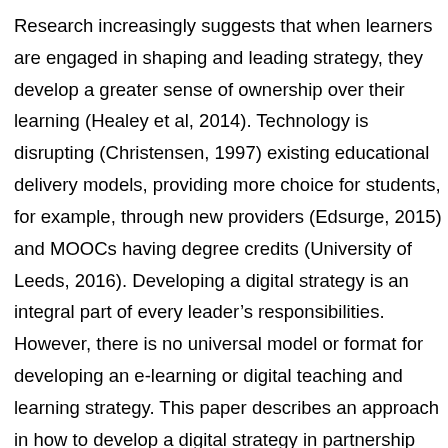Research increasingly suggests that when learners are engaged in shaping and leading strategy, they develop a greater sense of ownership over their learning (Healey et al, 2014). Technology is disrupting (Christensen, 1997) existing educational delivery models, providing more choice for students, for example, through new providers (Edsurge, 2015) and MOOCs having degree credits (University of Leeds, 2016). Developing a digital strategy is an integral part of every leader's responsibilities. However, there is no universal model or format for developing an e-learning or digital teaching and learning strategy. This paper describes an approach in how to develop a digital strategy in partnership with students. This paper includes observations, findings, examples of good practice and draws upon a wide range of literature. This paper